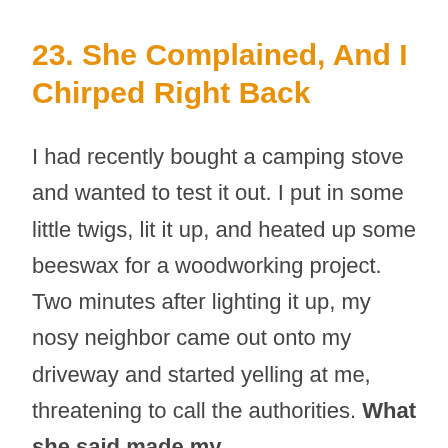23. She Complained, And I Chirped Right Back
I had recently bought a camping stove and wanted to test it out. I put in some little twigs, lit it up, and heated up some beeswax for a woodworking project. Two minutes after lighting it up, my nosy neighbor came out onto my driveway and started yelling at me, threatening to call the authorities. What she said made my